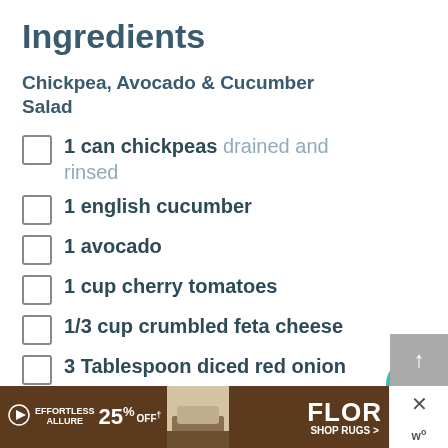Ingredients
Chickpea, Avocado & Cucumber Salad
1 can chickpeas drained and rinsed
1 english cucumber
1 avocado
1 cup cherry tomatoes
1/3 cup crumbled feta cheese
3 Tablespoon diced red onion about 1/4 of a red onion
1/3 cup pitted kalamata olives optional